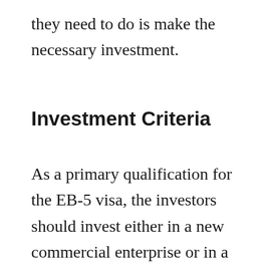they need to do is make the necessary investment.
Investment Criteria
As a primary qualification for the EB-5 visa, the investors should invest either in a new commercial enterprise or in a troubled business. They can follow two